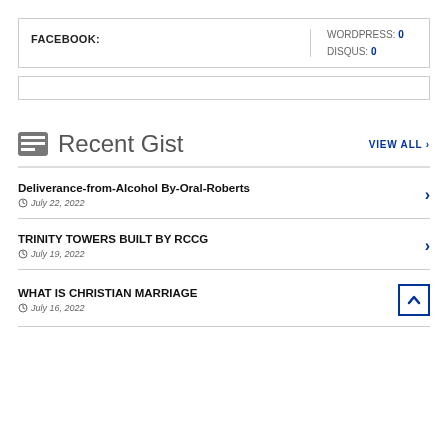FACEBOOK:
WORDPRESS: 0
DISQUS: 0
Recent Gist
VIEW ALL >
Deliverance-from-Alcohol By-Oral-Roberts
July 22, 2022
TRINITY TOWERS BUILT BY RCCG
July 19, 2022
WHAT IS CHRISTIAN MARRIAGE
July 16, 2022